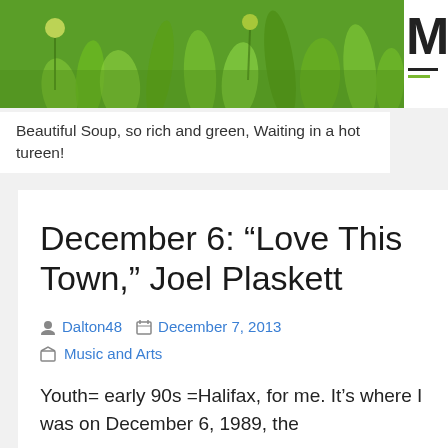[Figure (photo): Header photo of green grass and plants, with a white sidebar showing the letter M and two horizontal lines (one dark, one green)]
Beautiful Soup, so rich and green, Waiting in a hot tureen!
December 6: “Love This Town,” Joel Plaskett
Dalton48   December 7, 2013
Music and Arts
Youth= early 90s =Halifax, for me. It’s where I was on December 6, 1989, the